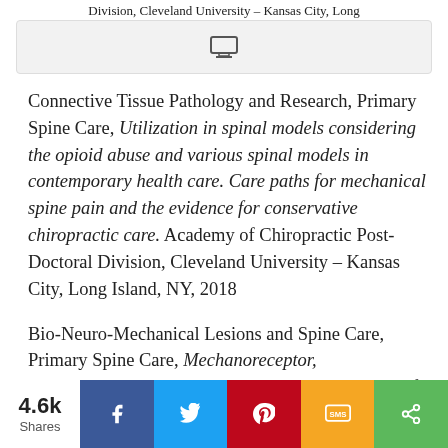Division, Cleveland University – Kansas City, Long
[Figure (other): Video/media player bar with monitor icon]
Connective Tissue Pathology and Research, Primary Spine Care, Utilization in spinal models considering the opioid abuse and various spinal models in contemporary health care. Care paths for mechanical spine pain and the evidence for conservative chiropractic care. Academy of Chiropractic Post-Doctoral Division, Cleveland University – Kansas City, Long Island, NY, 2018
Bio-Neuro-Mechanical Lesions and Spine Care, Primary Spine Care, Mechanoreceptor, proprioceptor, nociceptor innervation and control of the spinal system with central nervous system action and interaction. The integration of the pain processing network and the
4.6k Shares